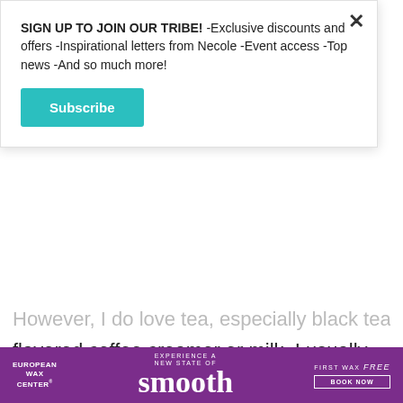SIGN UP TO JOIN OUR TRIBE! -Exclusive discounts and offers -Inspirational letters from Necole -Event access -Top news -And so much more!
Subscribe
However, I do love tea, especially black tea with flavored coffee creamer or milk. I usually go for a spicy chai, English breakfast, or Irish breakfast tea. That changed recently when I discovered I have uterine fibroids and a hormonal imbalance. Like most women who love a good cup of coffee or black tea to get them through the day, the main ingredient found in our favorite morning drinks isn't
[Figure (infographic): European Wax Center advertisement banner: purple background with 'EXPERIENCE A NEW STATE OF smooth' text and 'FIRST WAX free BOOK NOW' button]